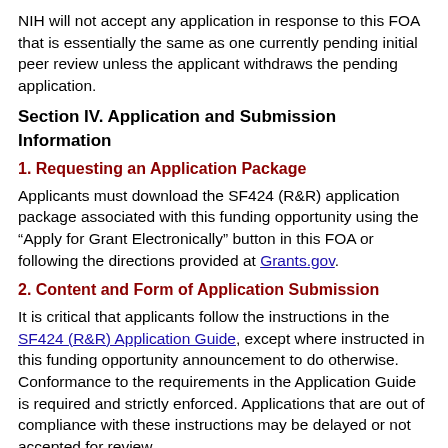NIH will not accept any application in response to this FOA that is essentially the same as one currently pending initial peer review unless the applicant withdraws the pending application.
Section IV. Application and Submission Information
1. Requesting an Application Package
Applicants must download the SF424 (R&R) application package associated with this funding opportunity using the “Apply for Grant Electronically” button in this FOA or following the directions provided at Grants.gov.
2. Content and Form of Application Submission
It is critical that applicants follow the instructions in the SF424 (R&R) Application Guide, except where instructed in this funding opportunity announcement to do otherwise. Conformance to the requirements in the Application Guide is required and strictly enforced. Applications that are out of compliance with these instructions may be delayed or not accepted for review.
For information on Application Submission and Receipt, visit